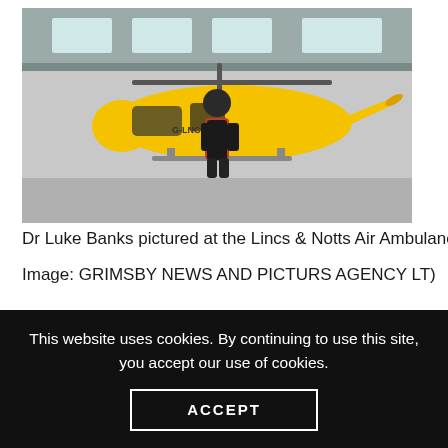[Figure (photo): Dr Luke Banks standing in front of a yellow helicopter (G-LNCC) at the Lincs & Notts Air Ambulance hangar, wearing a black jacket and red top.]
Dr Luke Banks pictured at the Lincs & Notts Air Ambulance (
Image: GRIMSBY NEWS AND PICTURS AGENCY LT)
Hundreds more lives are being saved after a surge in emergency blood transfusions carried out by air ambulance teams.
These have risen 43% in three years and created an urgent need for blood donors.
This website uses cookies. By continuing to use this site, you accept our use of cookies.